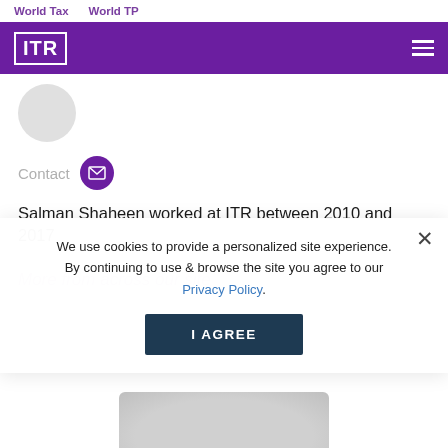World Tax   World TP
[Figure (logo): ITR logo in white on purple header bar with hamburger menu icon]
[Figure (photo): Circular avatar/profile picture placeholder in light grey]
Contact
Salman Shaheen worked at ITR between 2010 and 2017
More from across our site
We use cookies to provide a personalized site experience. By continuing to use & browse the site you agree to our Privacy Policy.
I AGREE